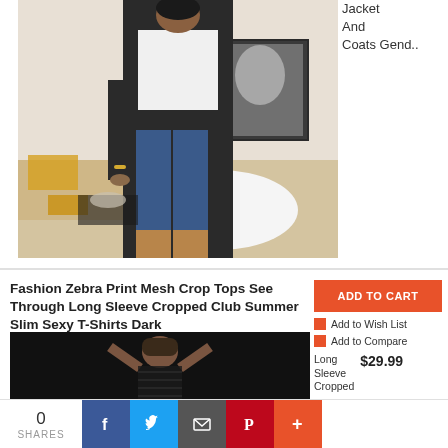[Figure (photo): Woman wearing a long dark gray blazer coat over a white top and blue jeans with tan heels, standing in a bedroom with a framed photo on the wall behind her]
Jacket
And
Coats Gend..
Fashion Zebra Print Mesh Crop Tops See Through Long Sleeve Cropped Club Summer Slim Sexy T-Shirts Dark
Fashion Zebra Print Mesh Crop Tops See Through
[Figure (photo): Woman wearing a black long-sleeve sheer mesh crop top, with hands raised behind head]
ADD TO CART
Add to Wish List
Add to Compare
Long Sleeve Cropped $29.99
0
SHARES